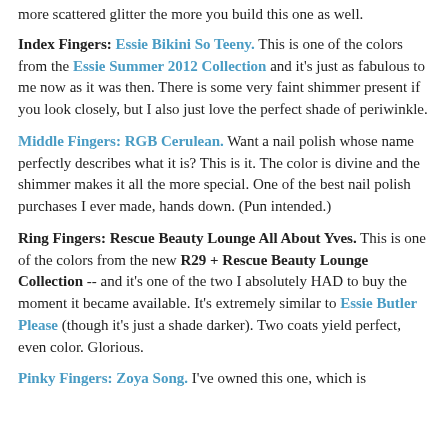more scattered glitter the more you build this one as well.
Index Fingers: Essie Bikini So Teeny. This is one of the colors from the Essie Summer 2012 Collection and it's just as fabulous to me now as it was then. There is some very faint shimmer present if you look closely, but I also just love the perfect shade of periwinkle.
Middle Fingers: RGB Cerulean. Want a nail polish whose name perfectly describes what it is? This is it. The color is divine and the shimmer makes it all the more special. One of the best nail polish purchases I ever made, hands down. (Pun intended.)
Ring Fingers: Rescue Beauty Lounge All About Yves. This is one of the colors from the new R29 + Rescue Beauty Lounge Collection -- and it's one of the two I absolutely HAD to buy the moment it became available. It's extremely similar to Essie Butler Please (though it's just a shade darker). Two coats yield perfect, even color. Glorious.
Pinky Fingers: Zoya Song. I've owned this one, which is